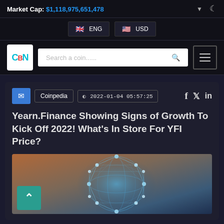Market Cap: $1,118,975,651,478
ENG  USD
[Figure (logo): CBN logo in teal/cyan on white background]
Search a coin......
Coinpedia  |  2022-01-04 05:57:25  |  Facebook  Twitter  LinkedIn
Yearn.Finance Showing Signs of Growth To Kick Off 2022! What's In Store For YFI Price?
[Figure (illustration): Network/globe illustration with blue glowing nodes and connections on a warm gradient background (brown to blue)]